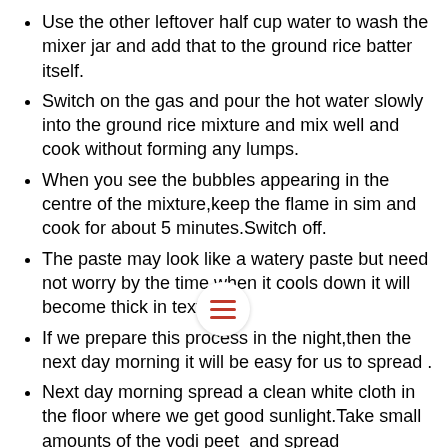Use the other leftover half cup water to wash the mixer jar and add that to the ground rice batter itself.
Switch on the gas and pour the hot water slowly into the ground rice mixture and mix well and cook without forming any lumps.
When you see the bubbles appearing in the centre of the mixture,keep the flame in sim and cook for about 5 minutes.Switch off.
The paste may look like a watery paste but need not worry by the time when it cools down it will become thick in texture.
If we prepare this process in the night,then the next day morning it will be easy for us to spread .
Next day morning spread a clean white cloth in the floor where we get good sunlight.Take small amounts of the vodi peet  and spread on the cloth and sun dry it for two days .
Remove them carefully and turn them up . keep to dry in sunlight  until full dried.